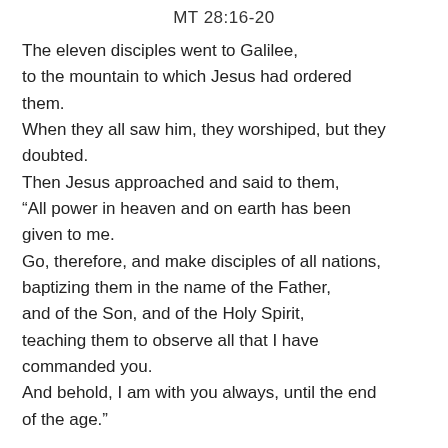MT 28:16-20
The eleven disciples went to Galilee, to the mountain to which Jesus had ordered them. When they all saw him, they worshiped, but they doubted. Then Jesus approached and said to them, “All power in heaven and on earth has been given to me. Go, therefore, and make disciples of all nations, baptizing them in the name of the Father, and of the Son, and of the Holy Spirit, teaching them to observe all that I have commanded you. And behold, I am with you always, until the end of the age.”